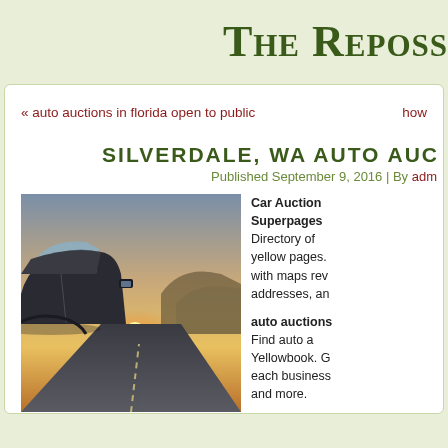The Reposs...
« auto auctions in florida open to public
how...
SILVERDALE, WA AUTO AU...
Published September 9, 2016 | By adm...
[Figure (photo): A car on an open road at sunset, viewed from low angle showing mirror and side of vehicle with dramatic sky and bright sun on horizon]
Car Auctions Superpages Directory of yellow pages. with maps re... addresses, an...
auto auctions... Find auto a... Yellowbook. G... each business... and more.